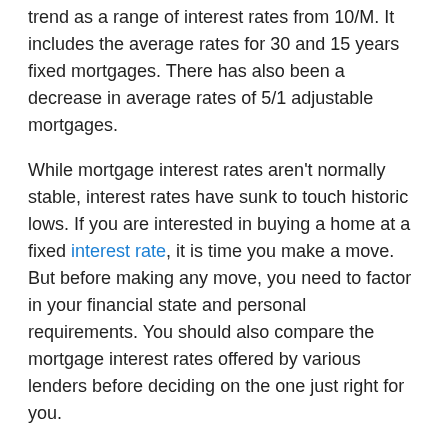trend as a range of interest rates from 10/M. It includes the average rates for 30 and 15 years fixed mortgages. There has also been a decrease in average rates of 5/1 adjustable mortgages.
While mortgage interest rates aren't normally stable, interest rates have sunk to touch historic lows. If you are interested in buying a home at a fixed interest rate, it is time you make a move. But before making any move, you need to factor in your financial state and personal requirements. You should also compare the mortgage interest rates offered by various lenders before deciding on the one just right for you.
15 And 30 Year Mortgage Interest Rates
The mortgage interest rate for 30 years fixed stands at 3.14% at present. It has declined by few basis points within a couple